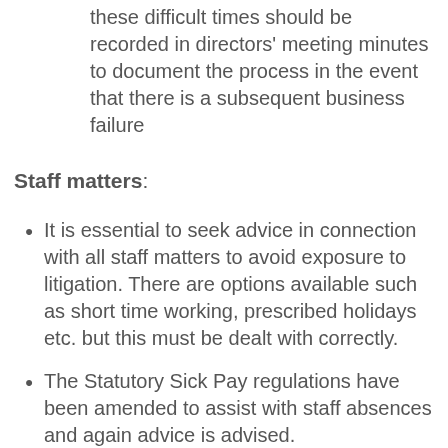these difficult times should be recorded in directors' meeting minutes to document the process in the event that there is a subsequent business failure
Staff matters:
It is essential to seek advice in connection with all staff matters to avoid exposure to litigation. There are options available such as short time working, prescribed holidays etc. but this must be dealt with correctly.
The Statutory Sick Pay regulations have been amended to assist with staff absences and again advice is advised.
The Government has published guidance in relation to support for businesses. It details